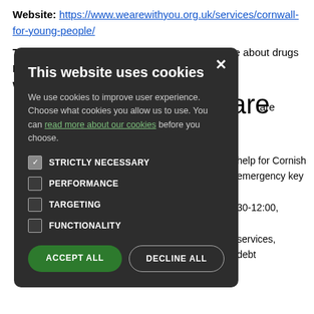Website: https://www.wearewithyou.org.uk/services/cornwall-for-young-people/
Talk To Frank- National- Information and advice about drugs
Phone: 0300 1236600
Wesbite: https://www.talktofrank.com/
[Figure (screenshot): Cookie consent modal overlay on a dark background. Title: 'This website uses cookies'. Body text: 'We use cookies to improve user experience. Choose what cookies you allow us to use. You can read more about our cookies before you choose.' Checkboxes for STRICTLY NECESSARY (checked), PERFORMANCE, TARGETING, FUNCTIONALITY. Buttons: ACCEPT ALL (green), DECLINE ALL (outlined).]
...help for Cornish ...emergency key ...30-12:00, ...services, ...debt